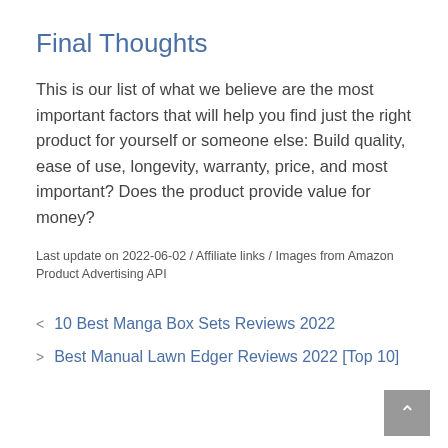Final Thoughts
This is our list of what we believe are the most important factors that will help you find just the right product for yourself or someone else: Build quality, ease of use, longevity, warranty, price, and most important? Does the product provide value for money?
Last update on 2022-06-02 / Affiliate links / Images from Amazon Product Advertising API
< 10 Best Manga Box Sets Reviews 2022
> Best Manual Lawn Edger Reviews 2022 [Top 10]